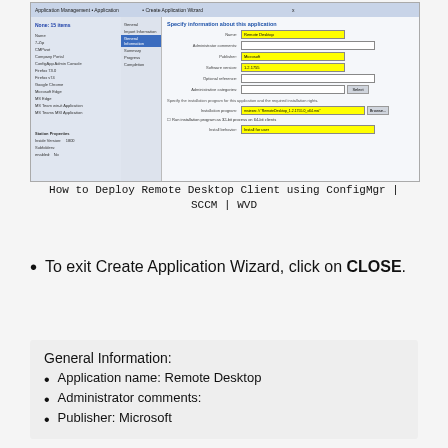[Figure (screenshot): Screenshot of SCCM Create Application Wizard showing General Information form with fields for Name (Remote Desktop, highlighted yellow), Publisher (Microsoft, highlighted yellow), Software version (1.2.1755, highlighted yellow), and Installation program with a path highlighted in yellow. Install behavior shows 'Install for user' highlighted.]
How to Deploy Remote Desktop Client using ConfigMgr | SCCM | WVD
To exit Create Application Wizard, click on CLOSE.
General Information:
Application name: Remote Desktop
Administrator comments:
Publisher: Microsoft